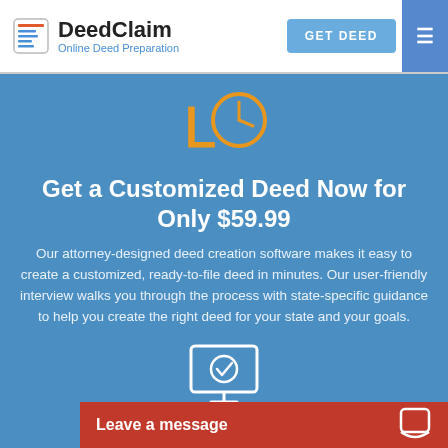DeedClaim — Online Deed Preparation | GET DEED
[Figure (illustration): Orange clock/time icon on blue background]
Get a Customized Deed Now for Only $59.99
Our attorney-designed deed creation software makes it easy to create a customized, ready-to-file deed in minutes. Our user-friendly interview walks you through the process with state-specific guidance to help you create the right deed for your state and your goals.
[Figure (illustration): Monitor/screen with checkmark icon on blue background]
Free
Complete the interview at no
Leave a message